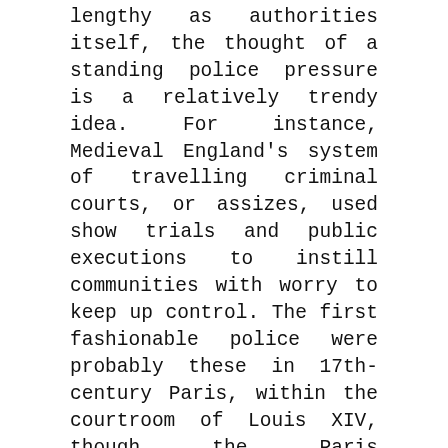lengthy as authorities itself, the thought of a standing police pressure is a relatively trendy idea. For instance, Medieval England's system of travelling criminal courts, or assizes, used show trials and public executions to instill communities with worry to keep up control. The first fashionable police were probably these in 17th-century Paris, within the courtroom of Louis XIV, though the Paris Prefecture of Police claim they have been the world's first uniformed policemen.
The basic constitutional precept, inspired by John Locke, holds that the person can do anything except that which is forbidden by law, and the state could do nothing except that which is authorised by law. Administrative law is the chief method for folks to hold state our bodies to account. People can sue an agency